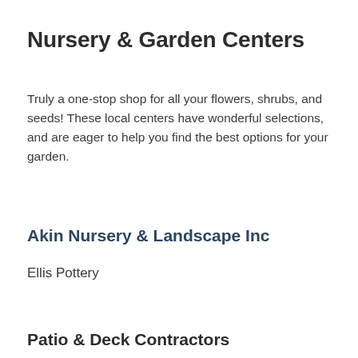Nursery & Garden Centers
Truly a one-stop shop for all your flowers, shrubs, and seeds! These local centers have wonderful selections, and are eager to help you find the best options for your garden.
Akin Nursery & Landscape Inc
Ellis Pottery
Patio & Deck Contractors